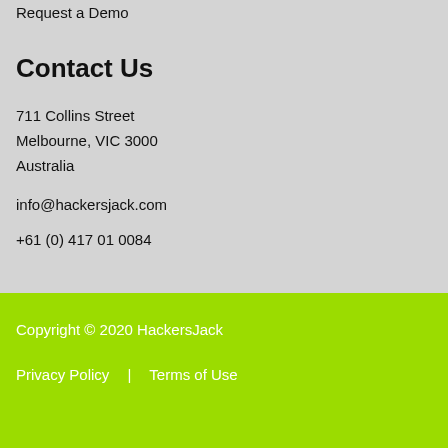Request a Demo
Contact Us
711 Collins Street
Melbourne, VIC 3000
Australia
info@hackersjack.com
+61 (0) 417 01 0084
Copyright © 2020 HackersJack
Privacy Policy | Terms of Use